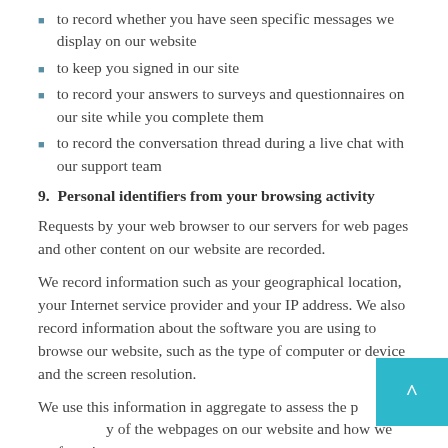to record whether you have seen specific messages we display on our website
to keep you signed in our site
to record your answers to surveys and questionnaires on our site while you complete them
to record the conversation thread during a live chat with our support team
9. Personal identifiers from your browsing activity
Requests by your web browser to our servers for web pages and other content on our website are recorded.
We record information such as your geographical location, your Internet service provider and your IP address. We also record information about the software you are using to browse our website, such as the type of computer or device and the screen resolution.
We use this information in aggregate to assess the p of the webpages on our website and how we perform in